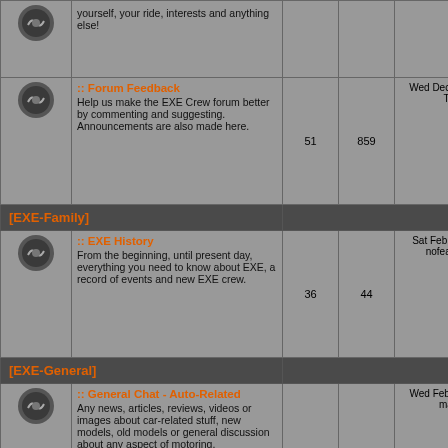| Icon | Forum | Topics | Posts | Last Post |
| --- | --- | --- | --- | --- |
| [icon] | :: Forum Feedback
Help us make the EXE Crew forum better by commenting and suggesting. Announcements are also made here. | 51 | 859 | Wed Dec 14, 2016 4:50 pm TOm.C →□ |
| [EXE-Family] |  |  |  |  |
| [icon] | :: EXE History
From the beginning, until present day, everything you need to know about EXE, a record of events and new EXE crew. | 36 | 44 | Sat Feb 11, 2012 4:26 pm nofearofdanger →□ |
| [EXE-General] |  |  |  |  |
| [icon] | :: General Chat - Auto-Related
Any news, articles, reviews, videos or images about car-related stuff, new models, old models or general discussion about any aspect of motoring. | 503 | 7926 | Wed Feb 15, 2017 4:59 pm maca_10 →□ |
| [icon] | :: General Chat - Off Topic |  |  |  |